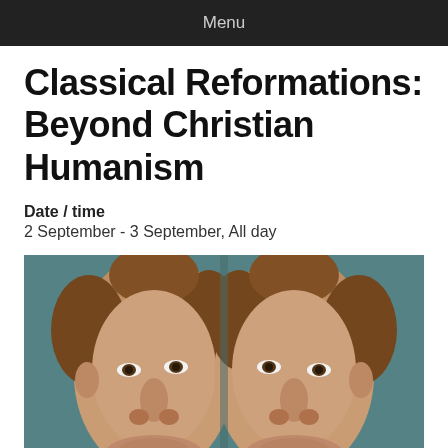Menu
Classical Reformations: Beyond Christian Humanism
Date / time
2 September - 3 September, All day
[Figure (photo): A mirrored Renaissance-style portrait painting showing two faces of a young man with curly hair, facing slightly inward toward each other, set against a teal/blue-green background.]